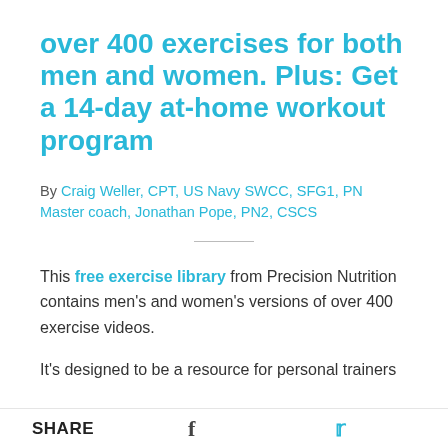over 400 exercises for both men and women. Plus: Get a 14-day at-home workout program
By Craig Weller, CPT, US Navy SWCC, SFG1, PN Master coach, Jonathan Pope, PN2, CSCS
This free exercise library from Precision Nutrition contains men's and women's versions of over 400 exercise videos.
It's designed to be a resource for personal trainers
SHARE